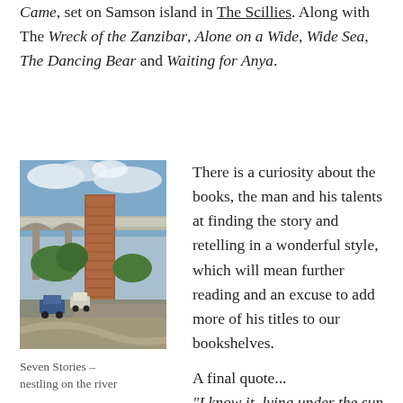Came, set on Samson island in The Scillies. Along with The Wreck of the Zanzibar, Alone on a Wide, Wide Sea, The Dancing Bear and Waiting for Anya.
[Figure (photo): Outdoor photo showing a brick chimney or tower next to a road bridge/viaduct with arches, trees, parked cars, and a gravel area. Blue sky with clouds.]
Seven Stories – nestling on the river
There is a curiosity about the books, the man and his talents at finding the story and retelling in a wonderful style, which will mean further reading and an excuse to add more of his titles to our bookshelves.
A final quote... "I know it, lying under the sun on a summer's night. I know it watching buzzards floating over the valley where I live. It is a learnt belonging from children who stop to gaze, to breath in